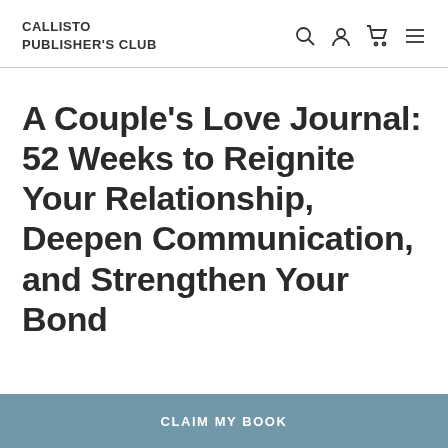CALLISTO PUBLISHER'S CLUB
A Couple's Love Journal: 52 Weeks to Reignite Your Relationship, Deepen Communication, and Strengthen Your Bond
CLAIM MY BOOK